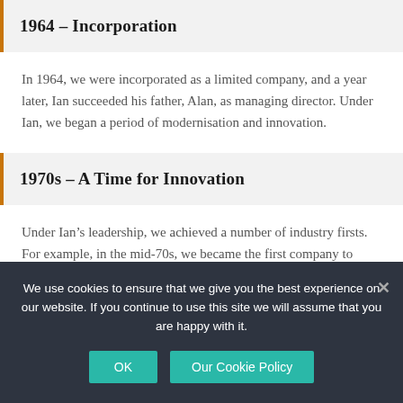1964 – Incorporation
In 1964, we were incorporated as a limited company, and a year later, Ian succeeded his father, Alan, as managing director. Under Ian, we began a period of modernisation and innovation.
1970s – A Time for Innovation
Under Ian's leadership, we achieved a number of industry firsts. For example, in the mid-70s, we became the first company to
We use cookies to ensure that we give you the best experience on our website. If you continue to use this site we will assume that you are happy with it.